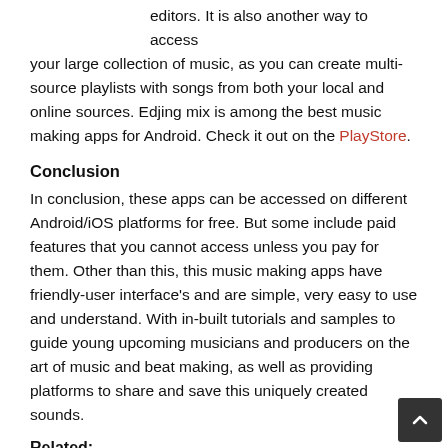editors. It is also another way to access your large collection of music, as you can create multi-source playlists with songs from both your local and online sources. Edjing mix is among the best music making apps for Android. Check it out on the PlayStore.
Conclusion
In conclusion, these apps can be accessed on different Android/iOS platforms for free. But some include paid features that you cannot access unless you pay for them. Other than this, this music making apps have friendly-user interface's and are simple, very easy to use and understand. With in-built tutorials and samples to guide young upcoming musicians and producers on the art of music and beat making, as well as providing platforms to share and save this uniquely created sounds.
Related:
10 Best Cloud Storage Apps (Android/iPhone)